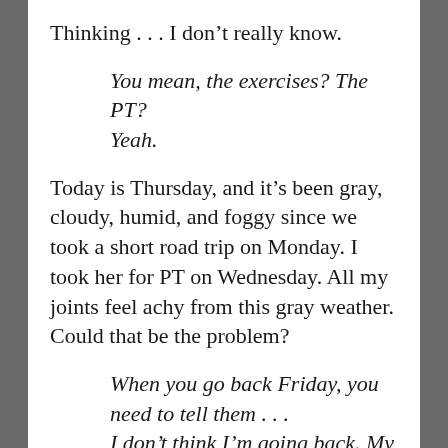Thinking . . . I don’t really know.
You mean, the exercises? The PT?
Yeah.
Today is Thursday, and it’s been gray, cloudy, humid, and foggy since we took a short road trip on Monday. I took her for PT on Wednesday. All my joints feel achy from this gray weather. Could that be the problem?
When you go back Friday, you need to tell them . . .
I don’t think I’m going back. My knee hurts.
But you’re going because your knee hurts.